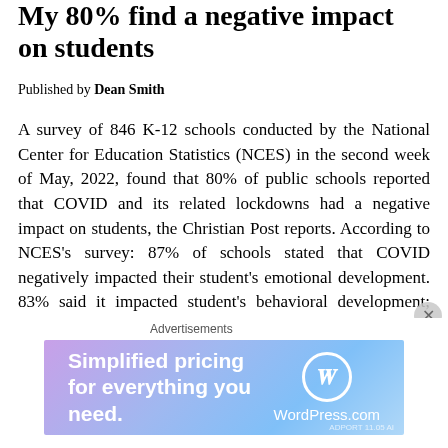My 80% find a negative impact on students
Published by Dean Smith
A survey of 846 K-12 schools conducted by the National Center for Education Statistics (NCES) in the second week of May, 2022, found that 80% of public schools reported that COVID and its related lockdowns had a negative impact on students, the Christian Post reports. According to NCES's survey: 87% of schools stated that COVID negatively impacted their student's emotional development. 83% said it impacted student's behavioral development; 72% reported an increase in student absences in class; 56% reported an increase in student misconduct in class; 49% reported an increase in misconduct outside of class; and 48% reported an
[Figure (screenshot): WordPress.com advertisement banner: 'Simplified pricing for everything you need.' with WordPress.com logo on a purple-to-blue gradient background. Labeled 'Advertisements' above.]